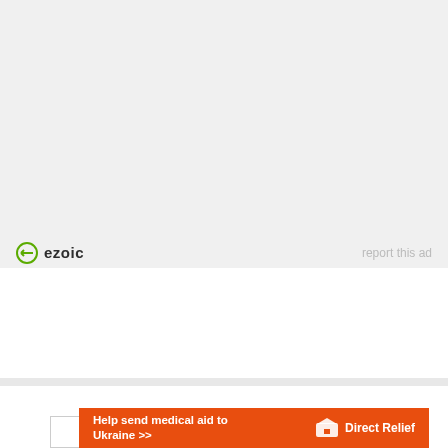[Figure (other): Gray ad placeholder area (Ezoic ad unit)]
ezoic   report this ad
[Figure (other): Direct Relief orange banner ad: Help send medical aid to Ukraine >>]